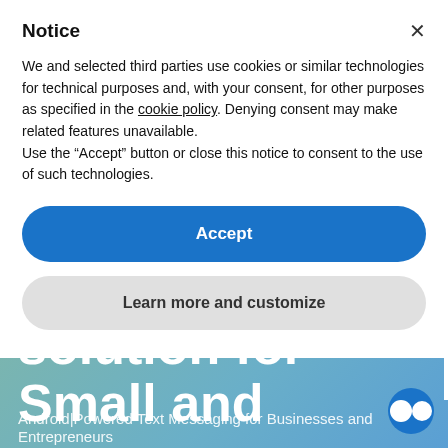[Figure (screenshot): Background website section with gradient from green to blue showing hero text about solution for Small and Android|Powered Text Messaging for Businesses and Entrepreneurs]
Notice
We and selected third parties use cookies or similar technologies for technical purposes and, with your consent, for other purposes as specified in the cookie policy. Denying consent may make related features unavailable.
Use the “Accept” button or close this notice to consent to the use of such technologies.
Accept
Learn more and customize
solution for Small and
Android|Powered Text Messaging for Businesses and Entrepreneurs